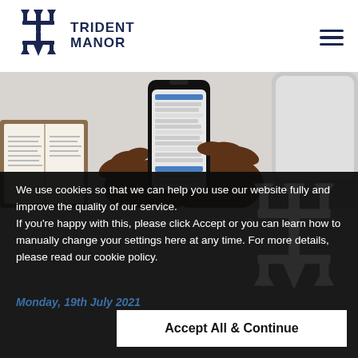Trident Manor
[Figure (photo): Overhead view of a person's hands holding a smartphone displaying a list/email app, with an open book on the left and a laptop on the right, on a white desk surface.]
We use cookies so that we can help you use our website fully and improve the quality of our service.
If you're happy with this, please click Accept or you can learn how to manually change your settings here at any time. For more details, please read our cookie policy.
Monday, 19th July 2021
Accept All & Continue